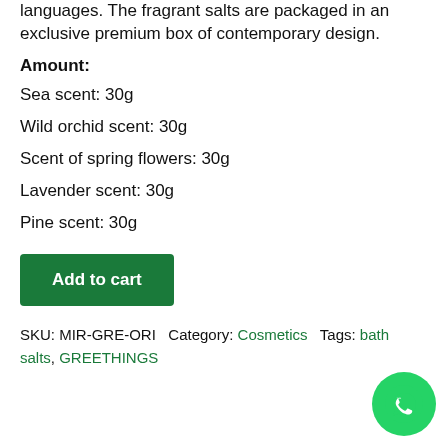languages. The fragrant salts are packaged in an exclusive premium box of contemporary design.
Amount:
Sea scent: 30g
Wild orchid scent: 30g
Scent of spring flowers: 30g
Lavender scent: 30g
Pine scent: 30g
Add to cart
SKU: MIR-GRE-ORI  Category: Cosmetics  Tags: bath salts, GREETHINGS